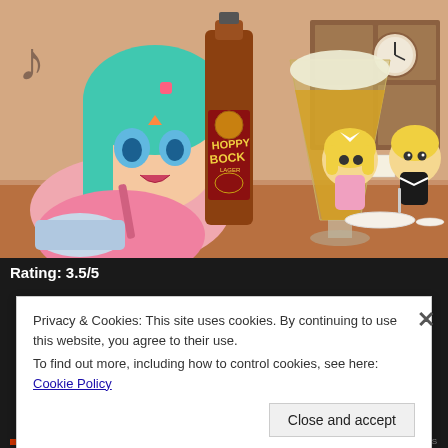[Figure (photo): Photo of an anime-style illustration backdrop showing a teal-haired anime girl in a pink apron holding a mixing bowl, with a real bottle of 'Hoppy Bock Lager' beer and a filled beer glass in the center, and two small chibi anime figurines (blonde characters) sitting at a table on the right, against a Japanese kitchen/restaurant interior background.]
Rating: 3.5/5
Privacy & Cookies: This site uses cookies. By continuing to use this website, you agree to their use.
To find out more, including how to control cookies, see here: Cookie Policy
Close and accept